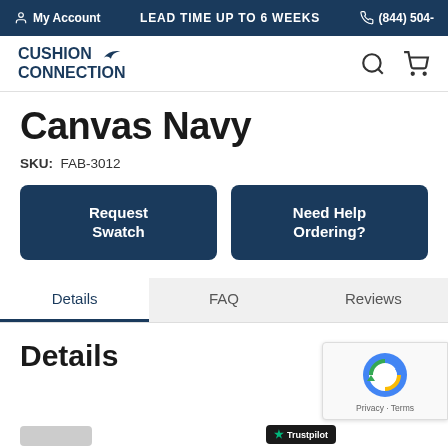My Account   LEAD TIME UP TO 6 WEEKS   (844) 504-
[Figure (logo): Cushion Connection logo with bird silhouette]
Canvas Navy
SKU:  FAB-3012
Request Swatch
Need Help Ordering?
Details
FAQ
Reviews
Details